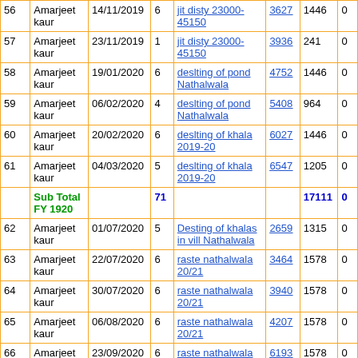| # | Name | Date | Days | Work | MB No. | Amount | Dispute |
| --- | --- | --- | --- | --- | --- | --- | --- |
| 56 | Amarjeet kaur | 14/11/2019 | 6 | jit disty 23000-45150 | 3627 | 1446 | 0 |
| 57 | Amarjeet kaur | 23/11/2019 | 1 | jit disty 23000-45150 | 3936 | 241 | 0 |
| 58 | Amarjeet kaur | 19/01/2020 | 6 | deslting of pond Nathalwala | 4752 | 1446 | 0 |
| 59 | Amarjeet kaur | 06/02/2020 | 4 | deslting of pond Nathalwala | 5408 | 964 | 0 |
| 60 | Amarjeet kaur | 20/02/2020 | 6 | deslting of khala 2019-20 | 6027 | 1446 | 0 |
| 61 | Amarjeet kaur | 04/03/2020 | 5 | deslting of khala 2019-20 | 6547 | 1205 | 0 |
| Sub Total FY 1920 |  |  | 71 |  |  | 17111 | 0 |
| 62 | Amarjeet kaur | 01/07/2020 | 5 | Desting of khalas in vill Nathalwala | 2659 | 1315 | 0 |
| 63 | Amarjeet kaur | 22/07/2020 | 6 | raste nathalwala 20/21 | 3464 | 1578 | 0 |
| 64 | Amarjeet kaur | 30/07/2020 | 6 | raste nathalwala 20/21 | 3940 | 1578 | 0 |
| 65 | Amarjeet kaur | 06/08/2020 | 6 | raste nathalwala 20/21 | 4207 | 1578 | 0 |
| 66 | Amarjeet kaur | 23/09/2020 | 6 | raste nathalwala 20/21 | 6193 | 1578 | 0 |
| 67 | Amarjeet kaur | 01/11/2020 | 6 | plantation nathalwala 20/21 | 7303 | 1578 | 0 |
| 68 | Amarjeet kaur |  |  | Internal work 1R... |  |  |  |